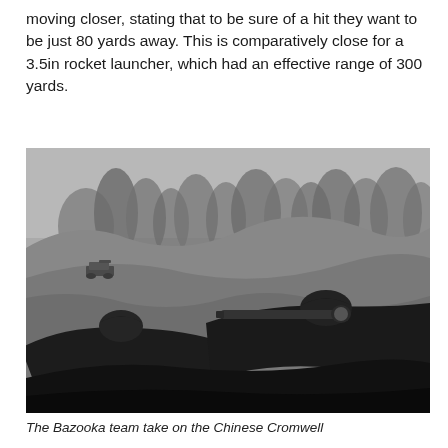moving closer, stating that to be sure of a hit they want to be just 80 yards away. This is comparatively close for a 3.5in rocket launcher, which had an effective range of 300 yards.
[Figure (photo): Black and white photograph of soldiers lying prone on a hillside, one aiming a bazooka (rocket launcher) toward a tank visible in the distance on the hill. Trees are visible in the background.]
The Bazooka team take on the Chinese Cromwell